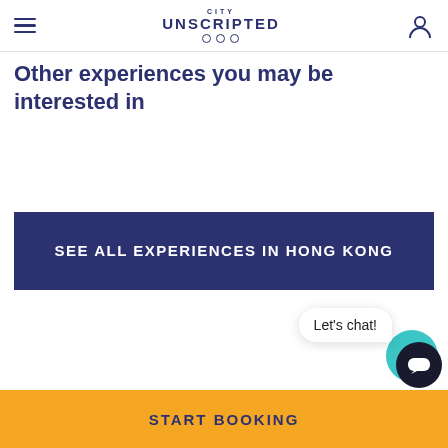CITY UNSCRIPTED
Other experiences you may be interested in
SEE ALL EXPERIENCES IN HONG KONG
Let's chat!
START BOOKING